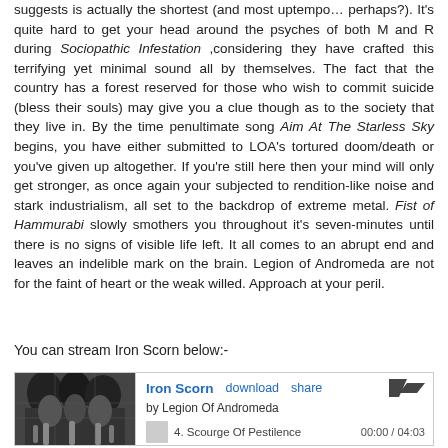suggests is actually the shortest (and most uptempo… perhaps?). It's quite hard to get your head around the psyches of both M and R during Sociopathic Infestation ,considering they have crafted this terrifying yet minimal sound all by themselves. The fact that the country has a forest reserved for those who wish to commit suicide (bless their souls) may give you a clue though as to the society that they live in. By the time penultimate song Aim At The Starless Sky begins, you have either submitted to LOA's tortured doom/death or you've given up altogether. If you're still here then your mind will only get stronger, as once again your subjected to rendition-like noise and stark industrialism, all set to the backdrop of extreme metal. Fist of Hammurabi slowly smothers you throughout it's seven-minutes until there is no signs of visible life left. It all comes to an abrupt end and leaves an indelible mark on the brain. Legion of Andromeda are not for the faint of heart or the weak willed. Approach at your peril.
You can stream Iron Scorn below:-
[Figure (screenshot): Bandcamp music widget for Iron Scorn by Legion Of Andromeda, showing album art, download and share links, track 4 Scourge Of Pestilence, time 00:00 / 04:03]